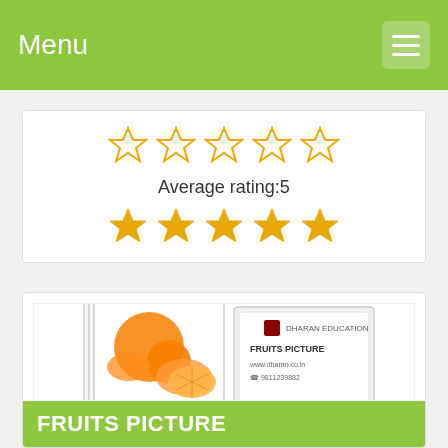Menu
[Figure (other): Star rating widget showing 5 outline stars and 5 filled gold stars with text 'Average rating:5']
Average rating:5
[Figure (photo): Product photo showing flash cards of fruits (oranges) with a box labeled Fruits Picture from Dharan Education]
FRUITS PICTURE